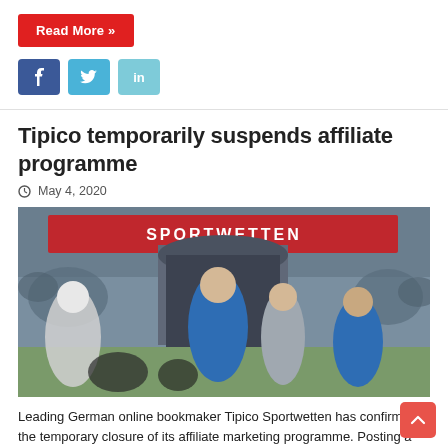Read More »
[Figure (infographic): Social media share buttons: Facebook (f), Twitter (bird icon), LinkedIn (in)]
Tipico temporarily suspends affiliate programme
May 4, 2020
[Figure (photo): Football match photo showing players in blue Hoffenheim kits running on the pitch, with a red Tipico Sportwetten banner visible in the background stadium stand]
Leading German online bookmaker Tipico Sportwetten has confirmed the temporary closure of its affiliate marketing programme. Posting a notice on its website, Tipico marketing